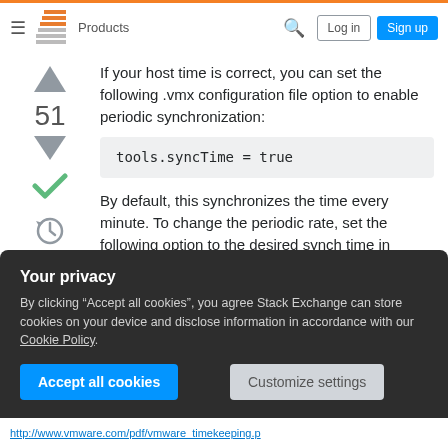Stack Exchange navigation bar: hamburger menu, logo, Products, search, Log in, Sign up
If your host time is correct, you can set the following .vmx configuration file option to enable periodic synchronization:
By default, this synchronizes the time every minute. To change the periodic rate, set the following option to the desired synch time in seconds:
Your privacy
By clicking “Accept all cookies”, you agree Stack Exchange can store cookies on your device and disclose information in accordance with our Cookie Policy.
Accept all cookies | Customize settings
http://www.vmware.com/pdf/vmware_timekeeping.p